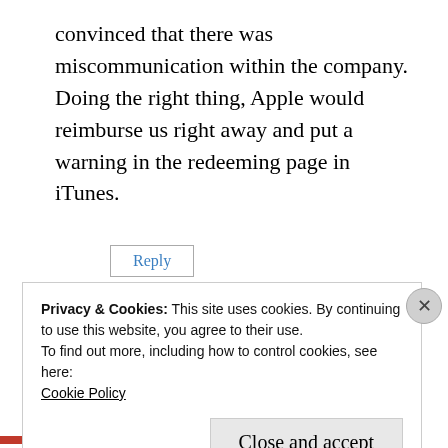convinced that there was miscommunication within the company. Doing the right thing, Apple would reimburse us right away and put a warning in the redeeming page in iTunes.
Reply
Eve
January 30, 2009 at 04:06
Privacy & Cookies: This site uses cookies. By continuing to use this website, you agree to their use.
To find out more, including how to control cookies, see here:
Cookie Policy
Close and accept